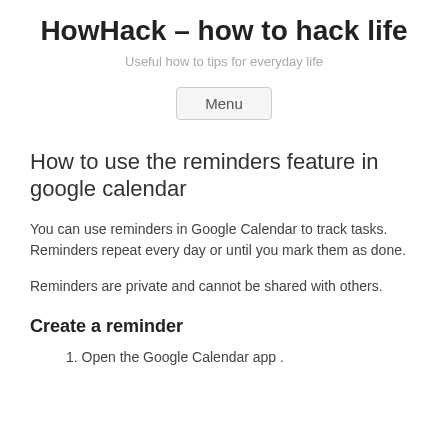HowHack – how to hack life
Useful how to tips for everyday life
Menu
How to use the reminders feature in google calendar
You can use reminders in Google Calendar to track tasks. Reminders repeat every day or until you mark them as done.
Reminders are private and cannot be shared with others.
Create a reminder
1. Open the Google Calendar app .